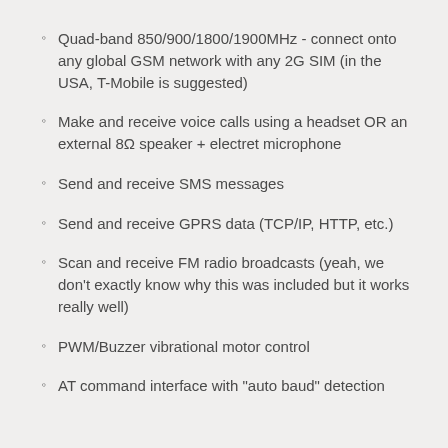Quad-band 850/900/1800/1900MHz - connect onto any global GSM network with any 2G SIM (in the USA, T-Mobile is suggested)
Make and receive voice calls using a headset OR an external 8Ω speaker + electret microphone
Send and receive SMS messages
Send and receive GPRS data (TCP/IP, HTTP, etc.)
Scan and receive FM radio broadcasts (yeah, we don't exactly know why this was included but it works really well)
PWM/Buzzer vibrational motor control
AT command interface with "auto baud" detection